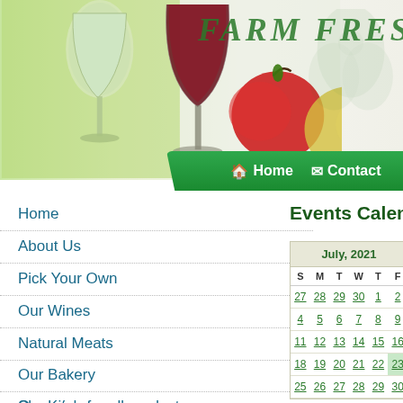[Figure (illustration): Farm Fresh Foods website header with wine glasses, red and green apples on green-to-white gradient background with decorative floral elements and 'Farm Fresh Fo...' text]
Home
Contact
Home
About Us
Pick Your Own
Our Wines
Natural Meats
Our Bakery
Our Kitchen
Shopping for all products
Events Calendar
| S | M | T | W | T | F |
| --- | --- | --- | --- | --- | --- |
| 27 | 28 | 29 | 30 | 1 | 2 |
| 4 | 5 | 6 | 7 | 8 | 9 |
| 11 | 12 | 13 | 14 | 15 | 16 |
| 18 | 19 | 20 | 21 | 22 | 23 |
| 25 | 26 | 27 | 28 | 29 | 30 |